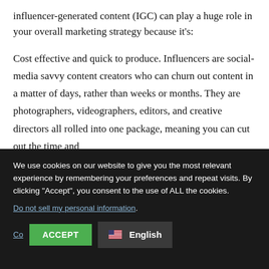influencer-generated content (IGC) can play a huge role in your overall marketing strategy because it's:
Cost effective and quick to produce. Influencers are social-media savvy content creators who can churn out content in a matter of days, rather than weeks or months. They are photographers, videographers, editors, and creative directors all rolled into one package, meaning you can cut out the time and
We use cookies on our website to give you the most relevant experience by remembering your preferences and repeat visits. By clicking “Accept”, you consent to the use of ALL the cookies.
Do not sell my personal information.
Cookie Settings   ACCEPT
English